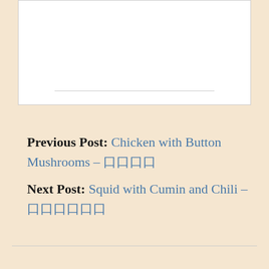[Figure (other): White content box with bottom divider line, partially visible at top of page]
Previous Post: Chicken with Button Mushrooms – 口口口口
Next Post: Squid with Cumin and Chili – 口口口口口口